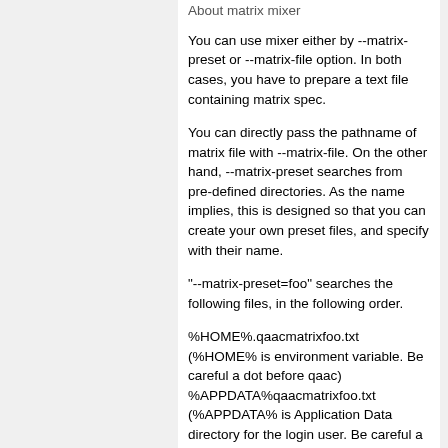About matrix mixer
You can use mixer either by --matrix-preset or --matrix-file option. In both cases, you have to prepare a text file containing matrix spec.
You can directly pass the pathname of matrix file with --matrix-file. On the other hand, --matrix-preset searches from pre-defined directories. As the name implies, this is designed so that you can create your own preset files, and specify with their name.
"--matrix-preset=foo" searches the following files, in the following order.
%HOME%.qaacmatrixfoo.txt (%HOME% is environment variable. Be careful a dot before qaac)
%APPDATA%qaacmatrixfoo.txt (%APPDATA% is Application Data directory for the login user. Be careful a dot is not here)
(path to qaac directory)matrixfoo.txt
The file format is very simple, and is like the following: